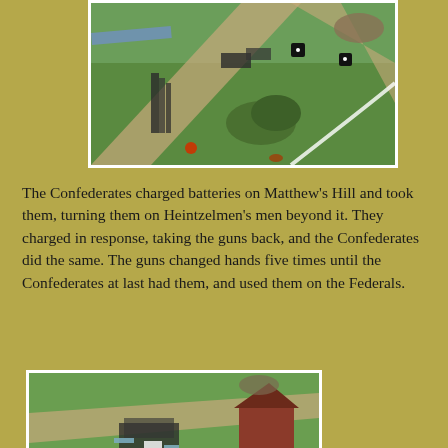[Figure (photo): Aerial view of a miniature wargame battlefield showing Confederate and Union troops on a green terrain board with roads and terrain features, with black dice visible.]
The Confederates charged batteries on Matthew's Hill and took them, turning them on Heintzelmen's men beyond it.  They charged in response, taking the guns back, and the Confederates did the same.  The guns changed hands five times until the Confederates at last had them, and used them on the Federals.
[Figure (photo): Close-up view of a miniature wargame battlefield showing troops engaged near a building, with black dice and terrain on a green board.]